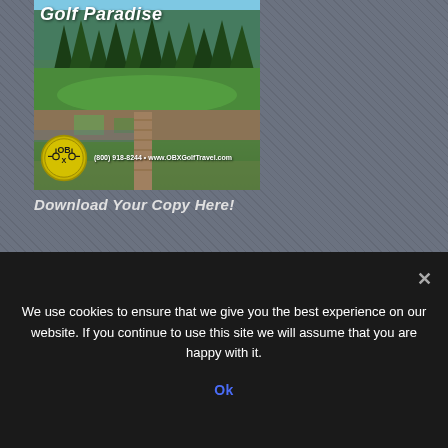[Figure (photo): Golf course photo with pine trees and green fairway, OBX Golf Travel branding including logo badge and contact info (800) 918-8244 + www.OBXGolfTravel.com. Title 'Golf Paradise' in bold italic white text at top.]
Download Your Copy Here!
OUR TOURISM PARTNERS
We use cookies to ensure that we give you the best experience on our website. If you continue to use this site we will assume that you are happy with it.
Ok